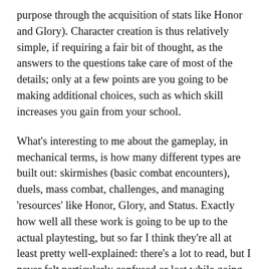purpose through the acquisition of stats like Honor and Glory). Character creation is thus relatively simple, if requiring a fair bit of thought, as the answers to the questions take care of most of the details; only at a few points are you going to be making additional choices, such as which skill increases you gain from your school.
What's interesting to me about the gameplay, in mechanical terms, is how many different types are built out: skirmishes (basic combat encounters), duels, mass combat, challenges, and managing 'resources' like Honor, Glory, and Status. Exactly how well all these work is going to be up to the actual playtesting, but so far I think they're all at least pretty well-explained: there's a lot to read, but I never felt particularly confused or lost while going through the book.